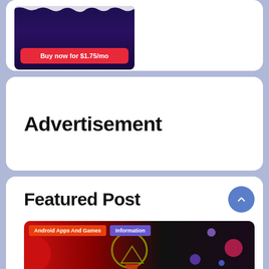[Figure (screenshot): Advertisement banner showing 'Buy now for $1.75/mo' on a dark purple background with red button and snow/drip decoration]
Advertisement
Featured Post
[Figure (screenshot): Featured post thumbnail with dark background, red accent, colorful circles, and tags 'Android Apps And Games' and 'Information']